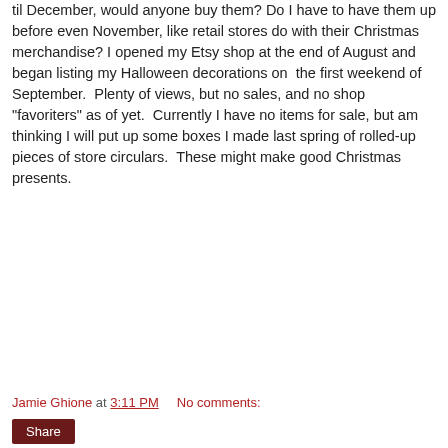til December, would anyone buy them?  Do I have to have them up before even November, like retail stores do with their Christmas merchandise?  I opened my Etsy shop at the end of August and began listing my Halloween decorations on  the first weekend of September.  Plenty of views, but no sales, and no shop "favoriters" as of yet.  Currently I have no items for sale, but am thinking I will put up some boxes I made last spring of rolled-up pieces of store circulars.  These might make good Christmas presents.
Jamie Ghione at 3:11 PM    No comments: